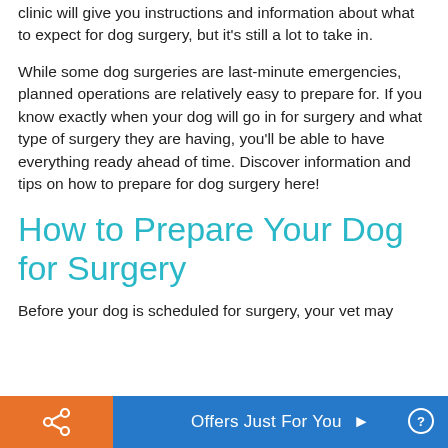clinic will give you instructions and information about what to expect for dog surgery, but it's still a lot to take in.
While some dog surgeries are last-minute emergencies, planned operations are relatively easy to prepare for. If you know exactly when your dog will go in for surgery and what type of surgery they are having, you'll be able to have everything ready ahead of time. Discover information and tips on how to prepare for dog surgery here!
How to Prepare Your Dog for Surgery
Before your dog is scheduled for surgery, your vet may
Offers Just For You ▶